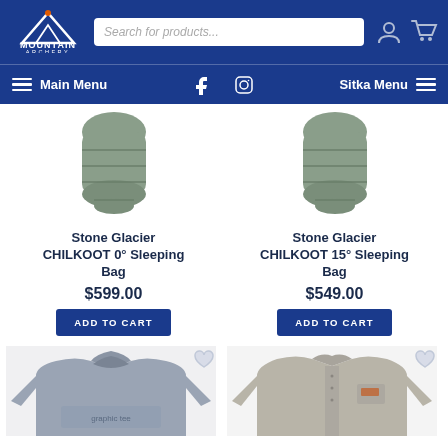Mountain Archery — Search for products... navigation header with Main Menu, Facebook, Instagram, Sitka Menu
[Figure (screenshot): Stone Glacier CHILKOOT 0° Sleeping Bag product image — gray sleeping bag]
Stone Glacier CHILKOOT 0° Sleeping Bag
$599.00
ADD TO CART
[Figure (screenshot): Stone Glacier CHILKOOT 15° Sleeping Bag product image — gray sleeping bag]
Stone Glacier CHILKOOT 15° Sleeping Bag
$549.00
ADD TO CART
[Figure (screenshot): Partial view of gray long-sleeve shirt product]
[Figure (screenshot): Partial view of gray button-up shirt product]